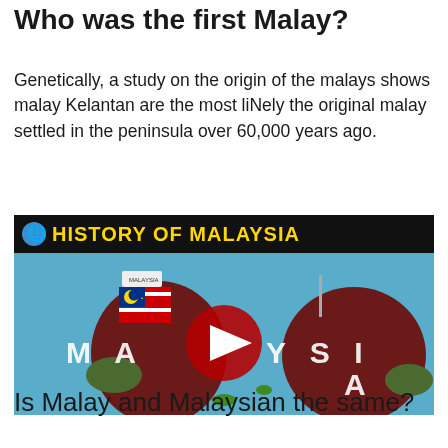Who was the first Malay?
Genetically, a study on the origin of the malays shows malay Kelantan are the most liNely the original malay settled in the peninsula over 60,000 years ago.
[Figure (screenshot): YouTube video thumbnail for 'HISTORY OF MALAYSIA' showing a map of Malaysia with Malaysian flags on Peninsular Malaysia and Borneo, with the text MALAYSIA overlaid and a YouTube play button in the center.]
Is Malay and Malaysian the same?